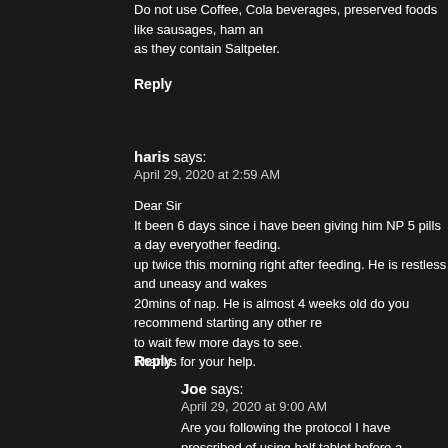Do not use Coffee, Cola beverages, preserved foods like sausages, ham and as they contain Saltpeter.
Reply
haris says:
April 29, 2020 at 2:59 AM
Dear Sir
It been 6 days since i have been giving him NP 5 pills a day everyother feeding. up twice this morning right after feeding. He is restless and uneasy and wakes 20mins of nap. He is almost 4 weeks old do you recommend starting any other re to wait few more days to see.
Thanks for your help.
Reply
Joe says:
April 29, 2020 at 9:00 AM
Are you following the protocol I have prescribed of using half tablet before a every feed?
Reply
Haris says:
April 29, 2020 at 10:33 AM
Dear sir
I have been giving him 5 pills in 24 hours everyother feed. He feeds 8-10